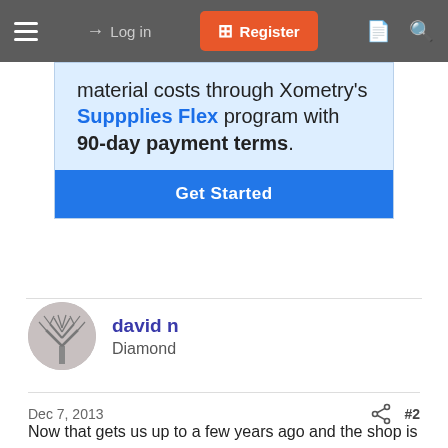Log in  Register
[Figure (infographic): Advertisement for Xometry Suppplies Flex program with 90-day payment terms and a Get Started button on blue background]
material costs through Xometry's Suppplies Flex program with 90-day payment terms.
david n
Diamond
Dec 7, 2013  #2
Now that gets us up to a few years ago and the shop is feeling cramped. Adding more benches, shelves, machinery(new turning center and mini mill), made that huge shop seem, like a cave. Our house was feeling the